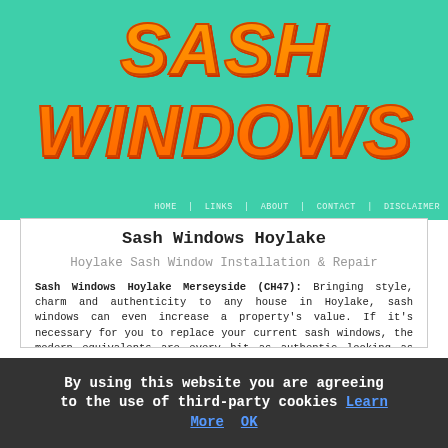SASH WINDOWS
HOME | LINKS | ABOUT | CONTACT | DISCLAIMER
Sash Windows Hoylake
Hoylake Sash Window Installation & Repair
Sash Windows Hoylake Merseyside (CH47): Bringing style, charm and authenticity to any house in Hoylake, sash windows can even increase a property's value. If it's necessary for you to replace your current sash windows, the modern equivalents are every bit as authentic looking as the original windows, and if you've got a period property, a listed building or your home is situated within a protected conservation area, sash windows may be your only option for replacement due to local caveats.
To make sure
By using this website you are agreeing to the use of third-party cookies Learn More  OK